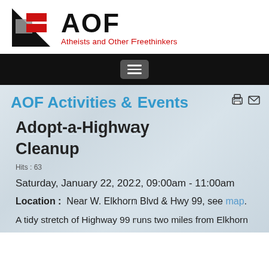[Figure (logo): AOF logo: black triangle with red and grey rectangles, followed by large 'AOF' text and subtitle 'Atheists and Other Freethinkers' in red]
[Figure (screenshot): Black navigation bar with hamburger menu icon button in center]
AOF Activities & Events
Adopt-a-Highway Cleanup
Hits : 63
Saturday, January 22, 2022, 09:00am - 11:00am
Location :  Near W. Elkhorn Blvd & Hwy 99, see map.
A tidy stretch of Highway 99 runs two miles from Elkhorn